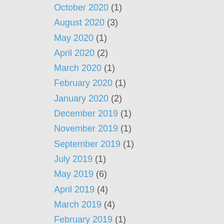October 2020 (1)
August 2020 (3)
May 2020 (1)
April 2020 (2)
March 2020 (1)
February 2020 (1)
January 2020 (2)
December 2019 (1)
November 2019 (1)
September 2019 (1)
July 2019 (1)
May 2019 (6)
April 2019 (4)
March 2019 (4)
February 2019 (1)
January 2019 (2)
December 2018 (4)
November 2018 (6)
October 2018 (6)
September 2018 (1)
August 2018 (1)